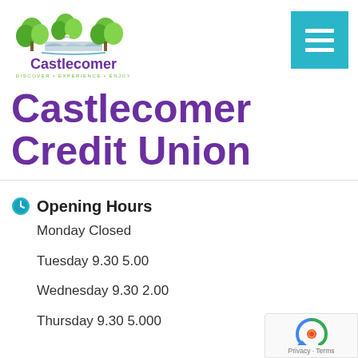[Figure (logo): Castlecomer logo with green trees, a bridge/building, and purple text reading 'Castlecomer' with tagline 'DISCOVER • EXPERIENCE • ENJOY']
Castlecomer Credit Union
Opening Hours
Monday Closed
Tuesday 9.30 5.00
Wednesday 9.30 2.00
Thursday 9.30 5.000